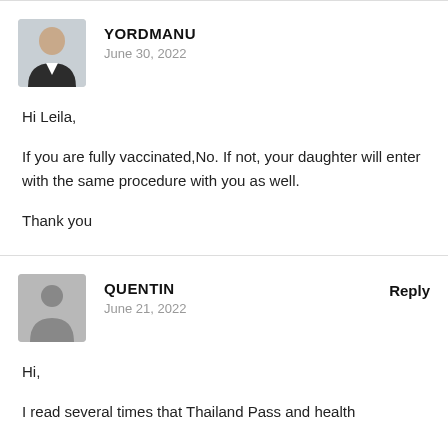[Figure (photo): Avatar photo of user Yordmanu — man in dark suit jacket]
YORDMANU
June 30, 2022
Hi Leila,

If you are fully vaccinated,No. If not, your daughter will enter with the same procedure with you as well.

Thank you
[Figure (illustration): Generic user avatar placeholder — grey silhouette of a person on grey background]
QUENTIN
June 21, 2022
Reply
Hi,
I read several times that Thailand Pass and health